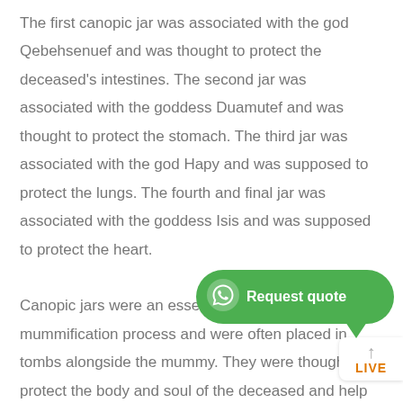The first canopic jar was associated with the god Qebehsenuef and was thought to protect the deceased's intestines. The second jar was associated with the goddess Duamutef and was thought to protect the stomach. The third jar was associated with the god Hapy and was supposed to protect the lungs. The fourth and final jar was associated with the goddess Isis and was supposed to protect the heart.

Canopic jars were an essential part of the mummification process and were often placed in tombs alongside the mummy. They were thought to protect the body and soul of the deceased and help them transition into the afterlife. Canopic jars were commonly used for